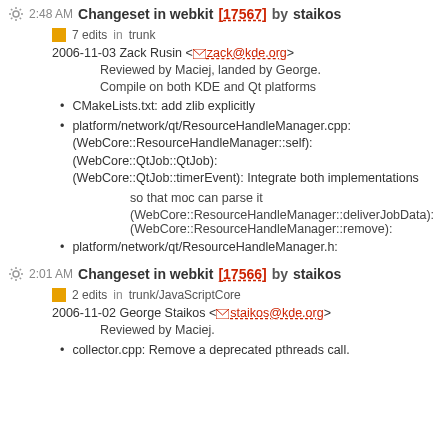2:48 AM Changeset in webkit [17567] by staikos
7 edits in trunk
2006-11-03 Zack Rusin <zack@kde.org>
Reviewed by Maciej, landed by George.
Compile on both KDE and Qt platforms
CMakeLists.txt: add zlib explicitly
platform/network/qt/ResourceHandleManager.cpp: (WebCore::ResourceHandleManager::self): (WebCore::QtJob::QtJob): (WebCore::QtJob::timerEvent): Integrate both implementations
so that moc can parse it
(WebCore::ResourceHandleManager::deliverJobData): (WebCore::ResourceHandleManager::remove):
platform/network/qt/ResourceHandleManager.h:
2:01 AM Changeset in webkit [17566] by staikos
2 edits in trunk/JavaScriptCore
2006-11-02 George Staikos <staikos@kde.org>
Reviewed by Maciej.
collector.cpp: Remove a deprecated pthreads call.